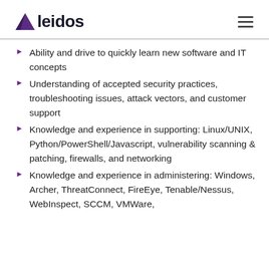leidos
Ability and drive to quickly learn new software and IT concepts
Understanding of accepted security practices, troubleshooting issues, attack vectors, and customer support
Knowledge and experience in supporting: Linux/UNIX, Python/PowerShell/Javascript, vulnerability scanning & patching, firewalls, and networking
Knowledge and experience in administering: Windows, Archer, ThreatConnect, FireEye, Tenable/Nessus, WebInspect, SCCM, VMWare,